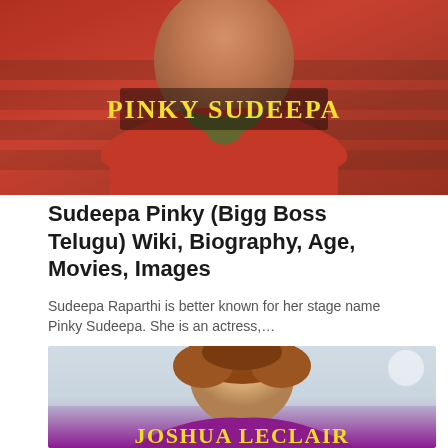[Figure (photo): Photo of Pinky Sudeepa with overlay text label reading 'Pinky Sudeepa' in yellow bold serif font on dark semi-transparent background]
Sudeepa Pinky (Bigg Boss Telugu) Wiki, Biography, Age, Movies, Images
Sudeepa Raparthi is better known for her stage name Pinky Sudeepa. She is an actress,…
[Figure (photo): Photo of Joshua LeClair, a young man with curly auburn hair wearing a magenta/purple top, smiling. Yellow bold serif text overlay at bottom reads 'Joshua LeClair']